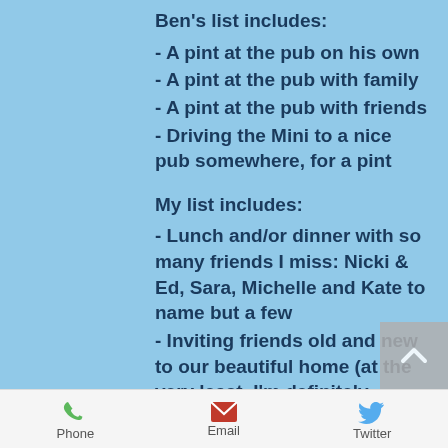Ben's list includes:
- A pint at the pub on his own
- A pint at the pub with family
- A pint at the pub with friends
- Driving the Mini to a nice pub somewhere, for a pint
My list includes:
- Lunch and/or dinner with so many friends I miss: Nicki & Ed, Sara, Michelle and Kate to name but a few
- Inviting friends old and new to our beautiful home (at the very least, I'm definitely looking at you Bethanie, Big Izzy and Ann & David!)
Phone  Email  Twitter